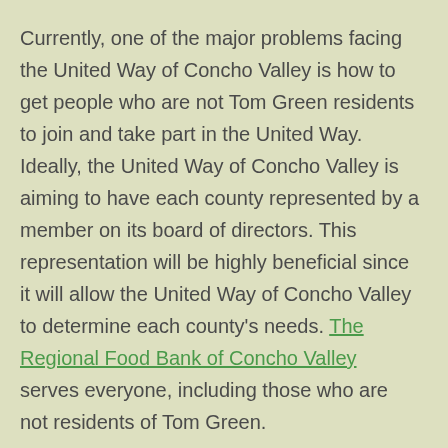Currently, one of the major problems facing the United Way of Concho Valley is how to get people who are not Tom Green residents to join and take part in the United Way. Ideally, the United Way of Concho Valley is aiming to have each county represented by a member on its board of directors. This representation will be highly beneficial since it will allow the United Way of Concho Valley to determine each county's needs. The Regional Food Bank of Concho Valley serves everyone, including those who are not residents of Tom Green.